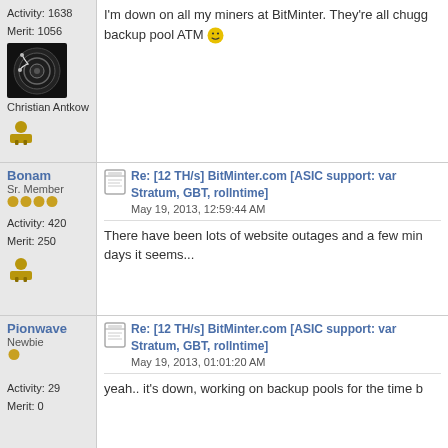Activity: 1638
Merit: 1056
[Figure (photo): Avatar image of a black speaker/subwoofer with a circular design]
Christian Antkow
I'm down on all my miners at BitMinter. They're all chugg... backup pool ATM 🙂
Bonam
Sr. Member
★★★★
Activity: 420
Merit: 250
Re: [12 TH/s] BitMinter.com [ASIC support: var... Stratum, GBT, rollntime]
May 19, 2013, 12:59:44 AM
There have been lots of website outages and a few min... days it seems...
Pionwave
Newbie
★
Activity: 29
Merit: 0
Re: [12 TH/s] BitMinter.com [ASIC support: var... Stratum, GBT, rollntime]
May 19, 2013, 01:01:20 AM
yeah.. it's down, working on backup pools for the time b...